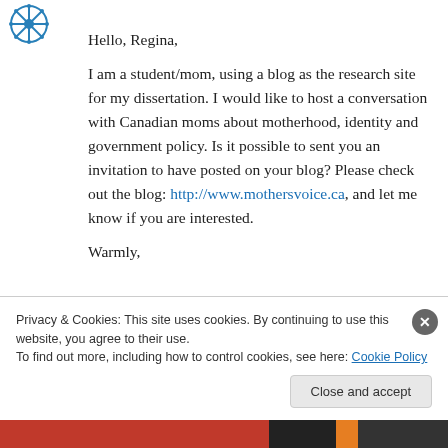[Figure (logo): Blue snowflake/wheel logo in top left corner]
Hello, Regina,
I am a student/mom, using a blog as the research site for my dissertation. I would like to host a conversation with Canadian moms about motherhood, identity and government policy. Is it possible to sent you an invitation to have posted on your blog? Please check out the blog: http://www.mothersvoice.ca, and let me know if you are interested.
Warmly,
Privacy & Cookies: This site uses cookies. By continuing to use this website, you agree to their use.
To find out more, including how to control cookies, see here: Cookie Policy
Close and accept